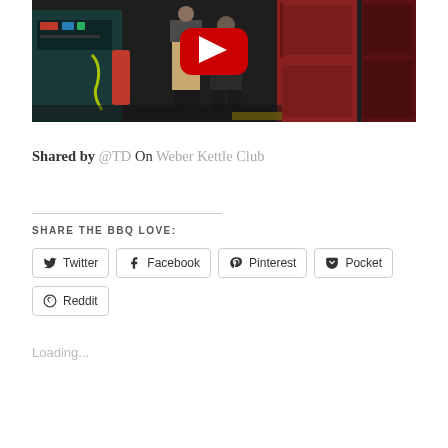[Figure (screenshot): YouTube video thumbnail showing an industrial/workshop setting with people standing near machinery. A red YouTube play button icon is visible in the upper center of the video.]
Shared by @TD  On  Weber Kettle Club
SHARE THE BBQ LOVE:
Twitter  Facebook  Pinterest  Pocket  Reddit
Loading...